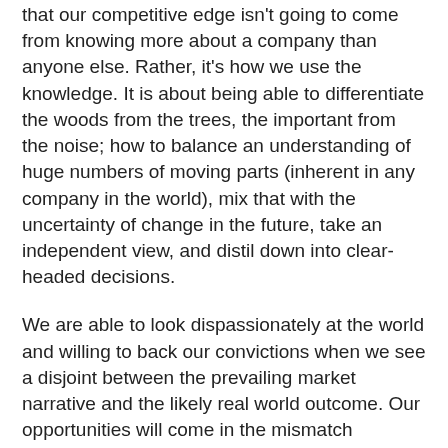that our competitive edge isn't going to come from knowing more about a company than anyone else. Rather, it's how we use the knowledge. It is about being able to differentiate the woods from the trees, the important from the noise; how to balance an understanding of huge numbers of moving parts (inherent in any company in the world), mix that with the uncertainty of change in the future, take an independent view, and distil down into clear-headed decisions.
We are able to look dispassionately at the world and willing to back our convictions when we see a disjoint between the prevailing market narrative and the likely real world outcome. Our opportunities will come in the mismatch between Ben Graham's weighing machine and voting machine. This is our advantage.
Lastly, as long term investors (our turnover is c.10%) we see ourselves as true stewards of the opportunities we